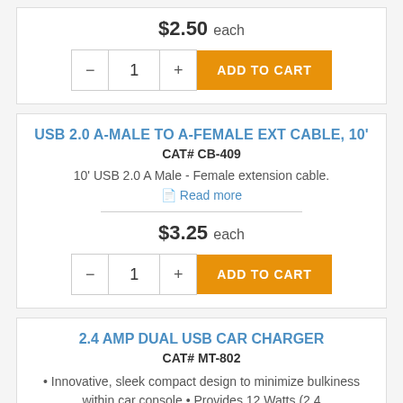$2.50 each
[Figure (other): Quantity selector with minus button, 1, plus button, and orange ADD TO CART button]
USB 2.0 A-MALE TO A-FEMALE EXT CABLE, 10'
CAT# CB-409
10' USB 2.0 A Male - Female extension cable.
Read more
$3.25 each
[Figure (other): Quantity selector with minus button, 1, plus button, and orange ADD TO CART button]
2.4 AMP DUAL USB CAR CHARGER
CAT# MT-802
Innovative, sleek compact design to minimize bulkiness within car console • Provides 12 Watts (2.4